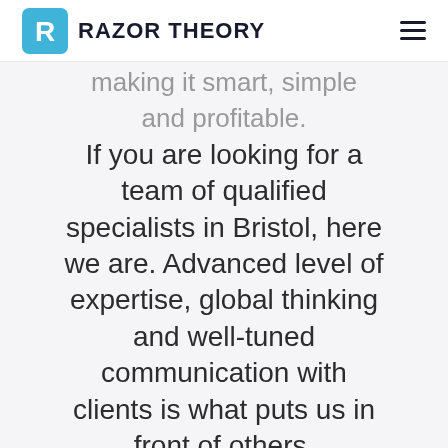RAZOR THEORY
making it smart, simple and profitable. If you are looking for a team of qualified specialists in Bristol, here we are. Advanced level of expertise, global thinking and well-tuned communication with clients is what puts us in front of others. We don't copy. We create.